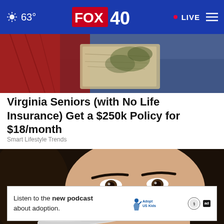63° FOX 40 • LIVE
[Figure (photo): Top partial image showing red fabric and a worn book/document]
Virginia Seniors (with No Life Insurance) Get a $250k Policy for $18/month
Smart Lifestyle Trends
[Figure (photo): Close-up photo of a young woman with dark hair holding a white device near her nose]
Listen to the new podcast about adoption.
[Figure (logo): Adopt US Kids logo, HHS logo, and ad badge]